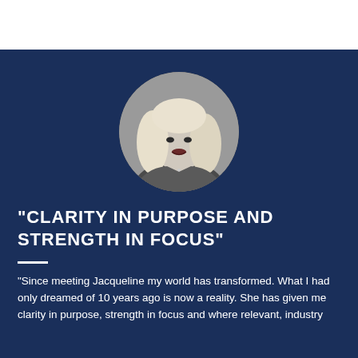[Figure (photo): Black and white circular portrait photo of a blonde woman smiling]
“CLARITY IN PURPOSE AND STRENGTH IN FOCUS”
"Since meeting Jacqueline my world has transformed. What I had only dreamed of 10 years ago is now a reality. She has given me clarity in purpose, strength in focus and where relevant, industry